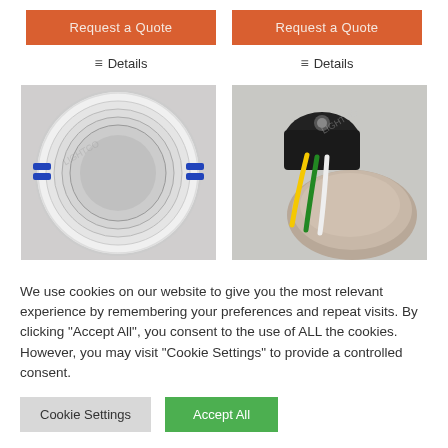Request a Quote
Request a Quote
☰ Details
☰ Details
[Figure (photo): Top-down view of a white circular recessed light fixture frame with blue mounting clips]
[Figure (photo): Close-up of a recessed light fixture showing wiring (yellow, green, white cables) and metallic reflector cup]
We use cookies on our website to give you the most relevant experience by remembering your preferences and repeat visits. By clicking "Accept All", you consent to the use of ALL the cookies. However, you may visit "Cookie Settings" to provide a controlled consent.
Cookie Settings
Accept All